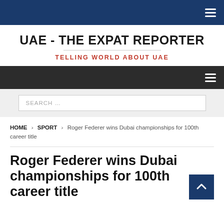UAE - THE EXPAT REPORTER | TELLING WORLD ABOUT UAE
SEARCH ...
HOME › SPORT › Roger Federer wins Dubai championships for 100th career title
Roger Federer wins Dubai championships for 100th career title